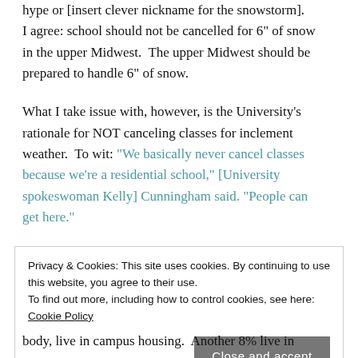hype or [insert clever nickname for the snowstorm]. I agree: school should not be cancelled for 6" of snow in the upper Midwest. The upper Midwest should be prepared to handle 6" of snow.
What I take issue with, however, is the University's rationale for NOT canceling classes for inclement weather. To wit: “We basically never cancel classes because we’re a residential school,” [University spokeswoman Kelly] Cunningham said. “People can get here.”
Privacy & Cookies: This site uses cookies. By continuing to use this website, you agree to their use. To find out more, including how to control cookies, see here: Cookie Policy
Close and accept
body, live in campus housing. Another 8% live in